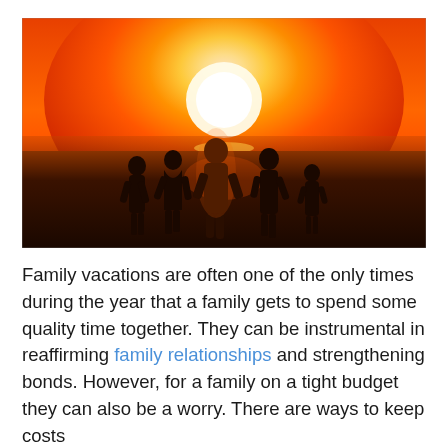[Figure (photo): A silhouette of a family of five walking together on a beach at sunset, holding hands, with a vivid orange and red sky and a bright sun behind them reflecting on the wet sand.]
Family vacations are often one of the only times during the year that a family gets to spend some quality time together. They can be instrumental in reaffirming family relationships and strengthening bonds. However, for a family on a tight budget they can also be a worry. There are ways to keep costs